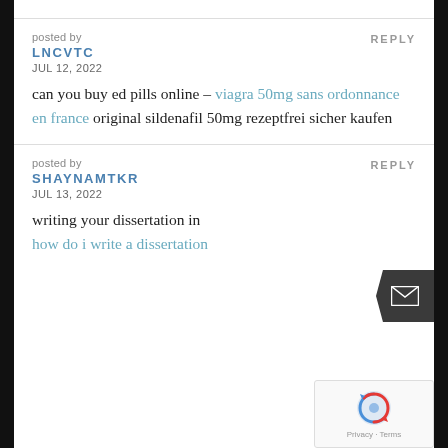posted by
LNCVTC
JUL 12, 2022
REPLY
can you buy ed pills online – viagra 50mg sans ordonnance en france original sildenafil 50mg rezeptfrei sicher kaufen
posted by
SHAYNAMTKR
JUL 13, 2022
REPLY
writing your dissertation in
how do i write a dissertation